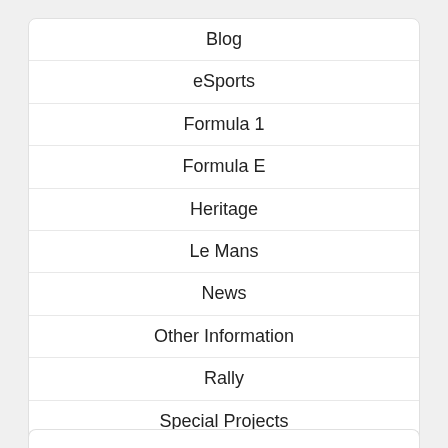Blog
eSports
Formula 1
Formula E
Heritage
Le Mans
News
Other Information
Rally
Special Projects
Touring Car